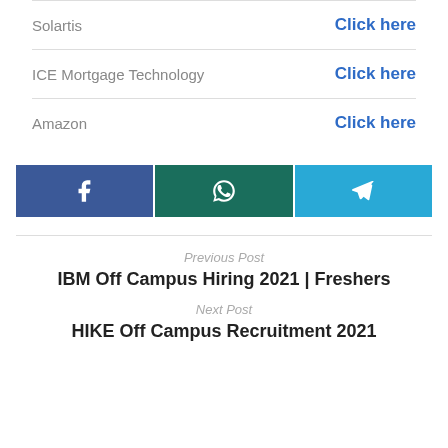| Company | Link |
| --- | --- |
| Solartis | Click here |
| ICE Mortgage Technology | Click here |
| Amazon | Click here |
[Figure (infographic): Three social share buttons: Facebook (dark blue), WhatsApp (dark teal), Telegram (light blue), each with respective icons]
Previous Post
IBM Off Campus Hiring 2021 | Freshers
Next Post
HIKE Off Campus Recruitment 2021